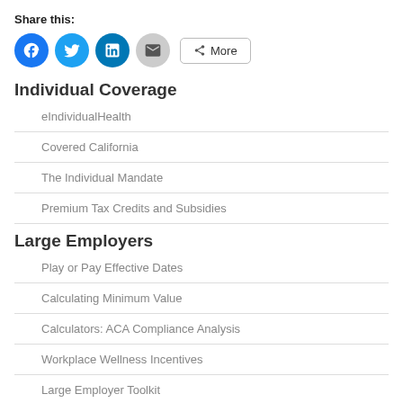Share this:
[Figure (other): Social share icons: Facebook, Twitter, LinkedIn, Email, and a More button]
Individual Coverage
eIndividualHealth
Covered California
The Individual Mandate
Premium Tax Credits and Subsidies
Large Employers
Play or Pay Effective Dates
Calculating Minimum Value
Calculators: ACA Compliance Analysis
Workplace Wellness Incentives
Large Employer Toolkit